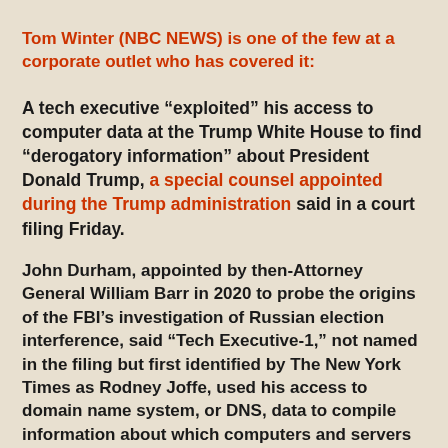Tom Winter (NBC NEWS) is one of the few at a corporate outlet who has covered it:
A tech executive “exploited” his access to computer data at the Trump White House to find “derogatory information” about President Donald Trump, a special counsel appointed during the Trump administration said in a court filing Friday.
John Durham, appointed by then-Attorney General William Barr in 2020 to probe the origins of the FBI’s investigation of Russian election interference, said “Tech Executive-1,” not named in the filing but first identified by The New York Times as Rodney Joffe, used his access to domain name system, or DNS, data to compile information about which computers and servers the White House